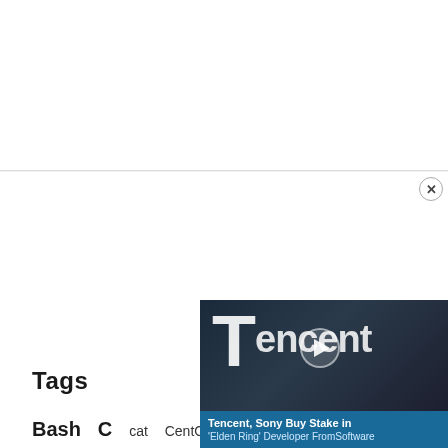[Figure (other): White blank area / top section content area]
Tags
Bash C cat CentOS Client config Command Command line configuration convert error Fedora gcc Git gnome How to kernel Library Linux OS PDF PHP Process Program Script Server shell Software
[Figure (other): Tencent advertisement overlay: 'Tencent, Sony Buy Stake in Elden Ring Developer FromSoftware' with play button and Tencent branding]